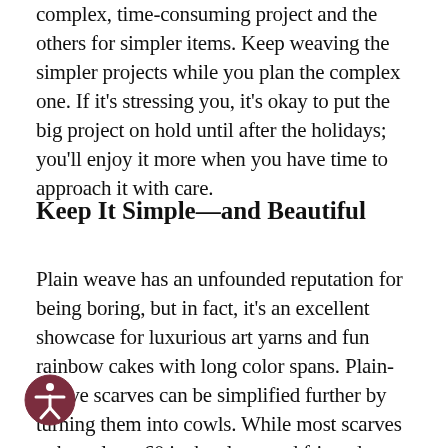complex, time-consuming project and the others for simpler items. Keep weaving the simpler projects while you plan the complex one. If it's stressing you, it's okay to put the big project on hold until after the holidays; you'll enjoy it more when you have time to approach it with care.
Keep It Simple—and Beautiful
Plain weave has an unfounded reputation for being boring, but in fact, it's an excellent showcase for luxurious art yarns and fun rainbow cakes with long color spans. Plain-weave scarves can be simplified further by turning them into cowls. While most scarves to be at least 60 inches long and fringed, a cowl can be 30 inches around with no fringe to twist or